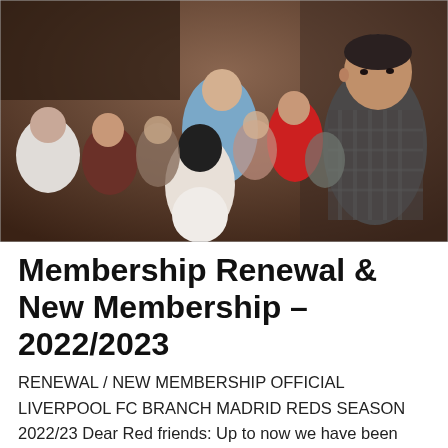[Figure (photo): A group of people gathered in what appears to be a bar or indoor venue with brick walls. A tall man in a dark checked shirt stands prominently on the right, with a crowd of men behind him.]
Membership Renewal & New Membership – 2022/2023
RENEWAL / NEW MEMBERSHIP OFFICIAL LIVERPOOL FC BRANCH MADRID REDS SEASON 2022/23 Dear Red friends: Up to now we have been accepting members from anywhere within Spain, however we ask that, when